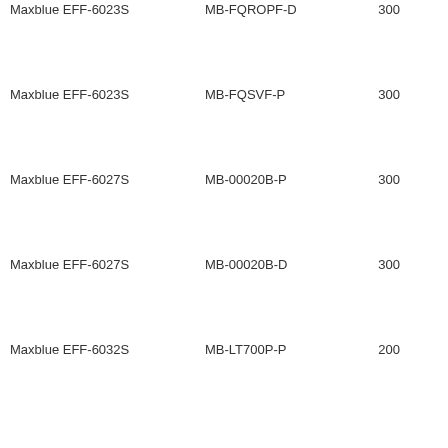Maxblue EFF-6023S | MB-FQROPF-D | 300
Maxblue EFF-6023S | MB-FQSVF-P | 300
Maxblue EFF-6027S | MB-00020B-P | 300
Maxblue EFF-6027S | MB-00020B-D | 300
Maxblue EFF-6032S | MB-LT700P-P | 200